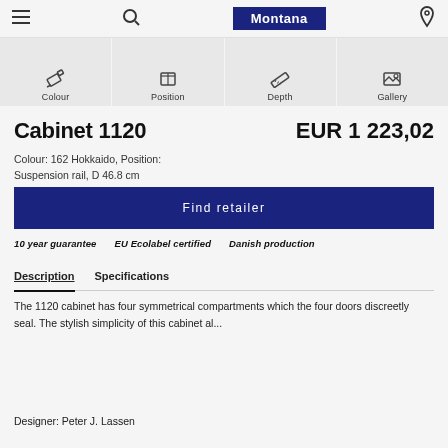Montana
[Figure (infographic): Icon strip with four icons: Colour (paint swatch), Position (frame), Depth (ruler), Gallery (landscape image)]
Cabinet 1120      EUR 1 223,02
Colour: 162 Hokkaido, Position: Suspension rail, D 46.8 cm
Find retailer
10 year guarantee   EU Ecolabel certified   Danish production
Description   Specifications
The 1120 cabinet has four symmetrical compartments which the four doors discreetly seal. The stylish simplicity of this cabinet al...
Designer: Peter J. Lassen